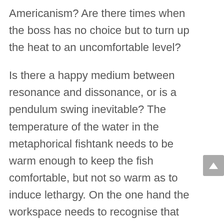Americanism? Are there times when the boss has no choice but to turn up the heat to an uncomfortable level?
Is there a happy medium between resonance and dissonance, or is a pendulum swing inevitable? The temperature of the water in the metaphorical fishtank needs to be warm enough to keep the fish comfortable, but not so warm as to induce lethargy. On the one hand the workspace needs to recognise that work is stressful at times and that people need to have the time and space to recover their strength. On the other hand, too much of a good thing and these spaces may be used to escape and hide from the work that